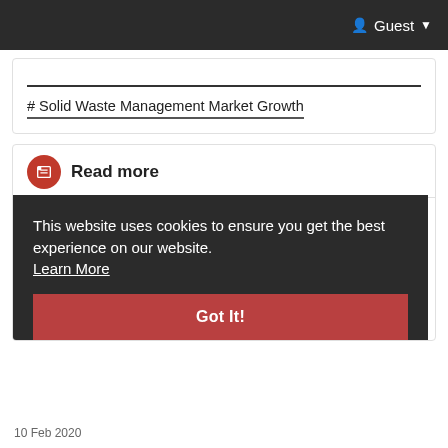Guest
# Solid Waste Management Market Growth
Read more
[Figure (logo): Transparency Market Research logo with orange upward arrow and gray arc]
This website uses cookies to ensure you get the best experience on our website. Learn More
Got It!